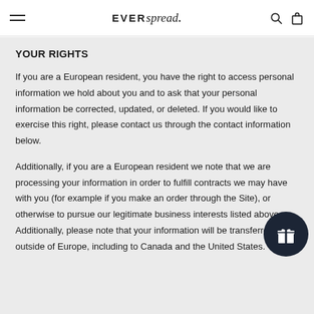EVER spread. [hamburger menu, search icon, bag icon]
YOUR RIGHTS
If you are a European resident, you have the right to access personal information we hold about you and to ask that your personal information be corrected, updated, or deleted. If you would like to exercise this right, please contact us through the contact information below.
Additionally, if you are a European resident we note that we are processing your information in order to fulfill contracts we may have with you (for example if you make an order through the Site), or otherwise to pursue our legitimate business interests listed above. Additionally, please note that your information will be transferred outside of Europe, including to Canada and the United States.